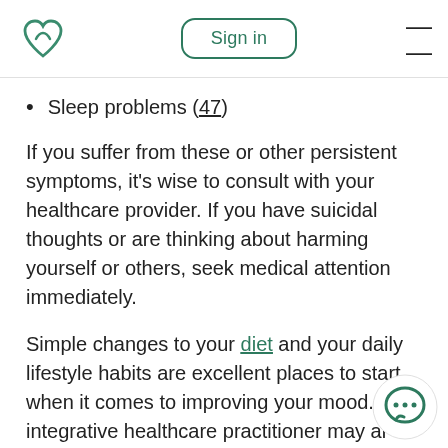Sign in  ≡
Sleep problems (47)
If you suffer from these or other persistent symptoms, it's wise to consult with your healthcare provider. If you have suicidal thoughts or are thinking about harming yourself or others, seek medical attention immediately.
Simple changes to your diet and your daily lifestyle habits are excellent places to start when it comes to improving your mood. Your integrative healthcare practitioner may also recommend certain dietary supplements that have been shown to help improve mood.